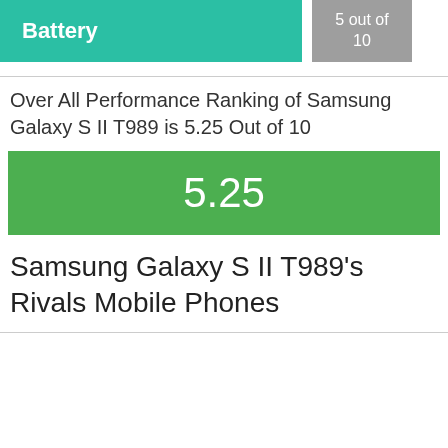Battery
5 out of 10
Over All Performance Ranking of Samsung Galaxy S II T989 is 5.25 Out of 10
[Figure (infographic): Green score bar displaying 5.25]
Samsung Galaxy S II T989's Rivals Mobile Phones